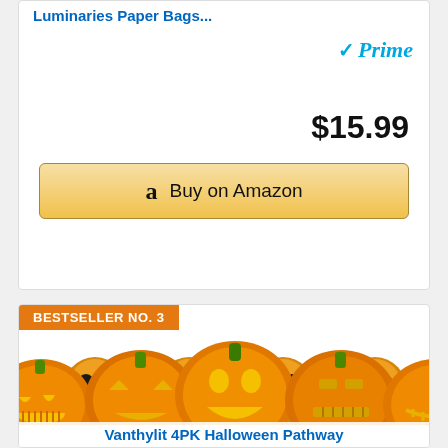Luminaries Paper Bags...
[Figure (logo): Amazon Prime badge with blue checkmark and 'Prime' text]
$15.99
[Figure (illustration): Buy on Amazon button with Amazon logo]
BESTSELLER NO. 3
[Figure (photo): Four orange skull-topped pathway stakes on black sticks, with a row of Halloween jack-o'-lantern pumpkins at the bottom]
Vanthylit 4PK Halloween Pathway